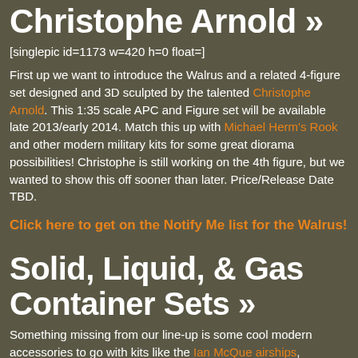Christophe Arnold »
[singlepic id=1173 w=420 h=0 float=]
First up we want to introduce the Walrus and a related 4-figure set designed and 3D sculpted by the talented Christophe Arnold. This 1:35 scale APC and Figure set will be available late 2013/early 2014. Match this up with Michael Herm's Rook and other modern military kits for some great diorama possibilities! Christophe is still working on the 4th figure, but we wanted to show this off sooner than later. Price/Release Date TBD.
Click here to get on the Notify Me list for the Walrus!
Solid, Liquid, & Gas Container Sets »
Something missing from our line-up is some cool modern accessories to go with kits like the Ian McQue airships, Dustbuster, Walrus, and Rook. We enlisted Nate Glovar